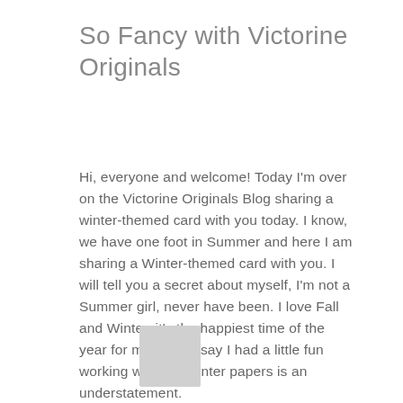So Fancy with Victorine Originals
Hi, everyone and welcome! Today I'm over on the Victorine Originals Blog sharing a winter-themed card with you today. I know, we have one foot in Summer and here I am sharing a Winter-themed card with you. I will tell you a secret about myself, I'm not a Summer girl, never have been. I love Fall and Winter, it's the happiest time of the year for me. So, to say I had a little fun working with my Winter papers is an understatement.
[Figure (photo): Partially visible image at bottom left of page, appears to be a cropped photo or card image]